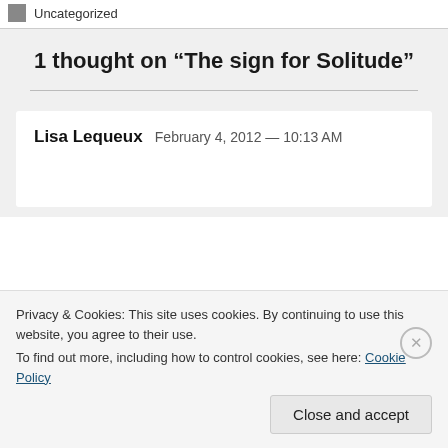Uncategorized
1 thought on “The sign for Solitude”
Lisa Lequeux   February 4, 2012 — 10:13 AM
Privacy & Cookies: This site uses cookies. By continuing to use this website, you agree to their use.
To find out more, including how to control cookies, see here: Cookie Policy
Close and accept